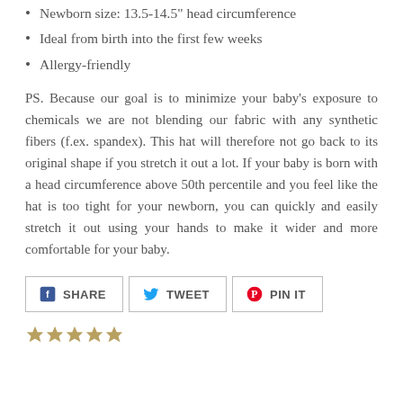Newborn size: 13.5-14.5" head circumference
Ideal from birth into the first few weeks
Allergy-friendly
PS. Because our goal is to minimize your baby's exposure to chemicals we are not blending our fabric with any synthetic fibers (f.ex. spandex). This hat will therefore not go back to its original shape if you stretch it out a lot. If your baby is born with a head circumference above 50th percentile and you feel like the hat is too tight for your newborn, you can quickly and easily stretch it out using your hands to make it wider and more comfortable for your baby.
[Figure (infographic): Social sharing buttons: SHARE (Facebook), TWEET (Twitter), PIN IT (Pinterest)]
[Figure (infographic): Star rating row with partially filled stars at the bottom of the page]